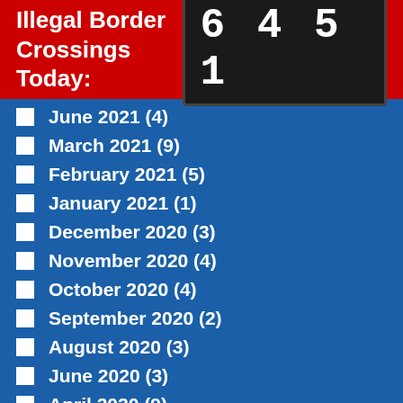Illegal Border Crossings Today: 6451
June 2021 (4)
March 2021 (9)
February 2021 (5)
January 2021 (1)
December 2020 (3)
November 2020 (4)
October 2020 (4)
September 2020 (2)
August 2020 (3)
June 2020 (3)
April 2020 (9)
March 2020 (2)
February 2020 (3)
January 2020 (4)